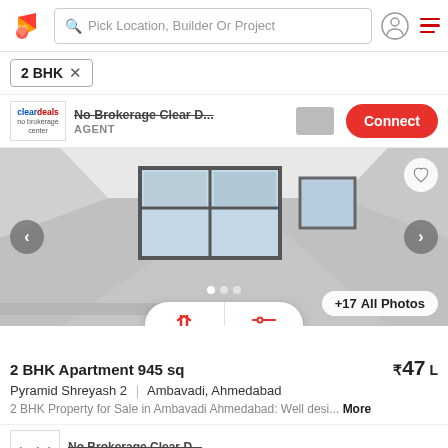Pick Location, Builder Or Project
2 BHK
No Brokerage Clear D... AGENT Connect
[Figure (photo): Interior photo of an empty apartment room with large windows, white walls and shiny floors. Navigation arrows on left and right, heart icon top-right, +17 All Photos button bottom-right.]
2 BHK Apartment 945 sq
₹47 L
Pyramid Shreyash 2  |  Ambavadi, Ahmedabad
2 BHK Property for Sale in Ambavadi Ahmedabad: Well desi... More
No Brokerage Clear D...